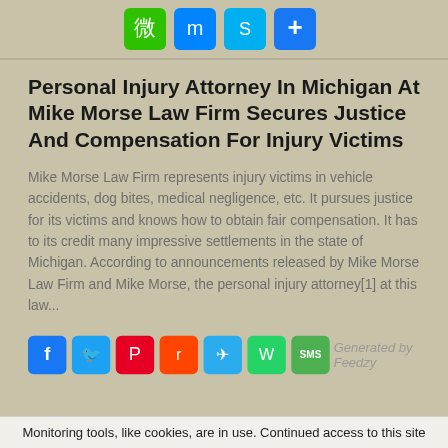[Figure (other): Social share icons row at top: WeChat (green), Messenger (blue), Skype (light blue), Share/Plus (blue)]
Personal Injury Attorney In Michigan At Mike Morse Law Firm Secures Justice And Compensation For Injury Victims
Mike Morse Law Firm represents injury victims in vehicle accidents, dog bites, medical negligence, etc. It pursues justice for its victims and knows how to obtain fair compensation. It has to its credit many impressive settlements in the state of Michigan. According to announcements released by Mike Morse Law Firm and Mike Morse, the personal injury attorney[1] at this law...
[Figure (other): Social share icons row at bottom: Facebook (blue), Twitter (light blue), Pinterest (red), Reddit (orange), Telegram (blue), WhatsApp (green), SMS (green)]
Monitoring tools, like cookies, are in use. Continued access to this site